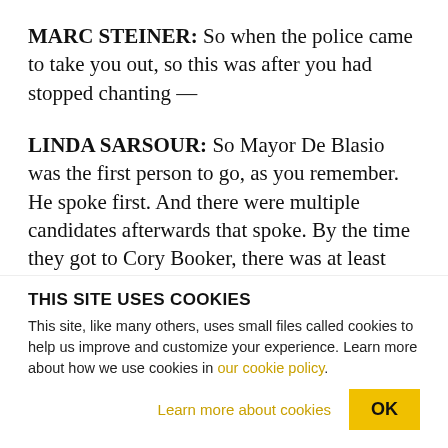MARC STEINER: So when the police came to take you out, so this was after you had stopped chanting —
LINDA SARSOUR: So Mayor De Blasio was the first person to go, as you remember. He spoke first. And there were multiple candidates afterwards that spoke. By the time they got to Cory Booker, there was at least four other candidates in between that had already spoken their first opening statement. And that's when the Detroit Police Department came in
THIS SITE USES COOKIES
This site, like many others, uses small files called cookies to help us improve and customize your experience. Learn more about how we use cookies in our cookie policy.
Learn more about cookies
OK